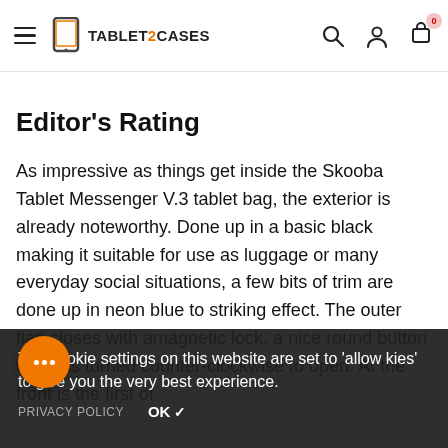TABLET2CASES (navigation bar with logo, search, account, cart icons)
Editor's Rating
As impressive as things get inside the Skooba Tablet Messenger V.3 tablet bag, the exterior is already noteworthy. Done up in a basic black making it suitable for use as luggage or many everyday social situations, a few bits of trim are done up in neon blue to striking effect. The outer flap closes with amagnetic lock, a nice round button which is turned counter-clockwise to open. At the front is the first of
The cookie settings on this website are set to 'allow kies' to give you the very best experience.
PRIVACY POLICY   OK ✓